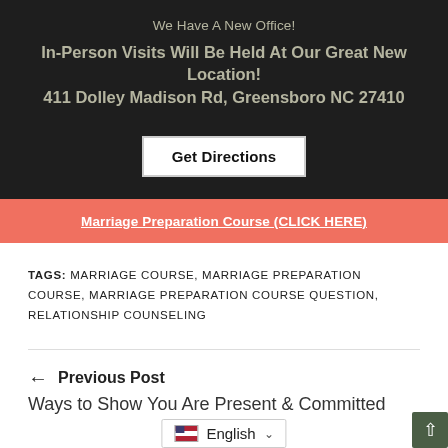We Have A New Office!
In-Person Visits Will Be Held At Our Great New Location!
411 Dolley Madison Rd, Greensboro NC 27410
Get Directions
Marriage Preparation Course (CLICK HERE)
TAGS: MARRIAGE COURSE, MARRIAGE PREPARATION COURSE, MARRIAGE PREPARATION COURSE QUESTION, RELATIONSHIP COUNSELING
← Previous Post
Ways to Show You Are Present & Committed